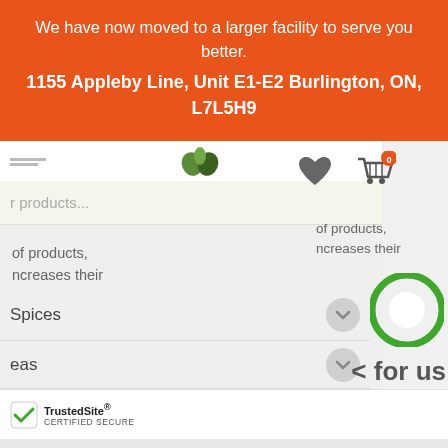We have now moved to a larger facility to serve you better.
1155 Appleby Line, Unit E1-E2 Burlington, ON, L7L5H9
[Figure (screenshot): Partial screenshot of a website showing a navigation menu with items Spices and eas (partial), a search bar with placeholder text 'r products...', heart and cart icons with badge '0', partial body text 'of products, increases their', a green chat bubble icon, and bottom text '< for us'. A TrustedSite Certified Secure badge is visible in the lower left.]